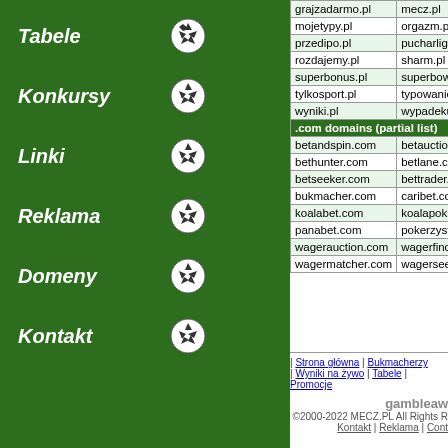Tabele
Konkursy
Linki
Reklama
Domeny
Kontakt
| grajzadarmo.pl | mecz.pl |
| mojetypy.pl | orgazm.pl |
| przedipo.pl | pucharlig... |
| rozdajemy.pl | sharm.pl |
| superbonus.pl | superbow... |
| tylkosport.pl | typowanie... |
| wyniki.pl | wypadeku... |
| .com domains (partial list) |  |
| betandspin.com | betauctio... |
| bethunter.com | betlane.c... |
| betseeker.com | bettrader.... |
| bukmacher.com | caribet.co... |
| koalabet.com | koalapok... |
| panabet.com | pokerzyst... |
| wagerauction.com | wagerfind... |
| wagermatcher.com | wagersee... |
| Strona główna | Bukmacherzy... | Wyniki na żywo | Tabele | Promocje...
gambleaw... ©2000-2022 MECZ.PL All Rights Reserved Kontakt | Reklama | Cont...